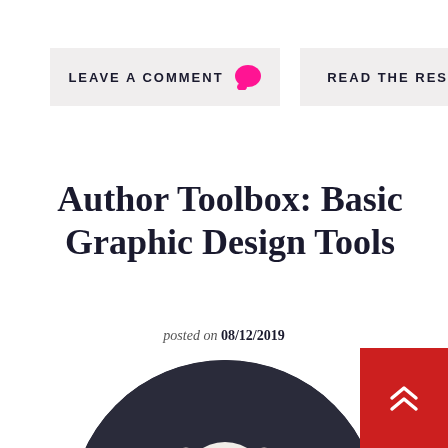LEAVE A COMMENT 💬
READ THE REST »
Author Toolbox: Basic Graphic Design Tools
posted on 08/12/2019
[Figure (photo): A white Dalmatian dog covered in colorful paint spots, sitting in front of paint cans, on a dark background, shown in a circular crop.]